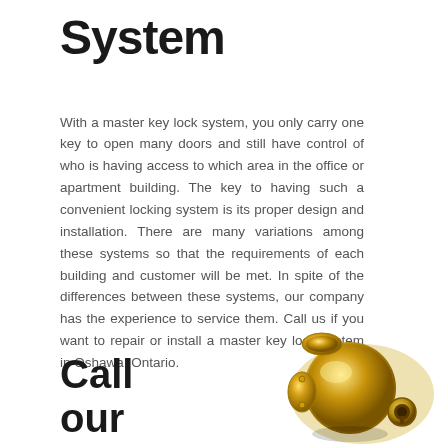System
With a master key lock system, you only carry one key to open many doors and still have control of who is having access to which area in the office or apartment building. The key to having such a convenient locking system is its proper design and installation. There are many variations among these systems so that the requirements of each building and customer will be met. In spite of the differences between these systems, our company has the experience to service them. Call us if you want to repair or install a master key lock system in Oshawa, Ontario.
Call
our
[Figure (photo): A gold/brass door knob lock mechanism photographed from the side, showing the cylindrical knob and lock cylinder detail.]